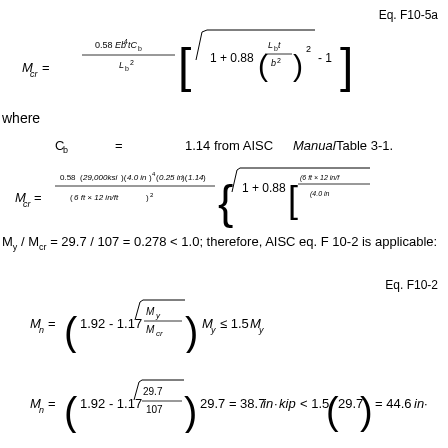Eq. F10-5a
where
C_b = 1.14 from AISC Manual Table 3-1.
My / Mcr = 29.7 / 107 = 0.278 < 1.0; therefore, AISC eq. F 10-2 is applicable:
Eq. F10-2